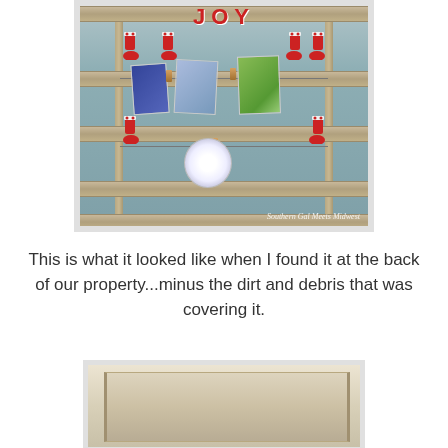[Figure (photo): A rustic wooden pallet frame decorated with Christmas stockings, clothespins, and holiday greeting cards hung on twine strings. The word JOY appears at the top. Watermark reads 'Southern Gal Meets Midwest'.]
This is what it looked like when I found it at the back of our property...minus the dirt and debris that was covering it.
[Figure (photo): A plain weathered wooden board or pallet found at the back of a property, appearing dirty and worn.]